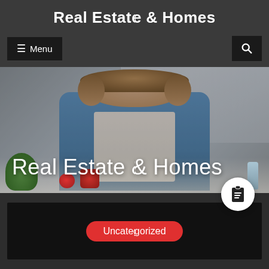Real Estate & Homes
☰ Menu
[Figure (photo): Real estate agent woman sitting at a desk in an office, with bookshelves in the background, a plant, red mug, apple, and water bottle on the desk]
Real Estate & Homes
[Figure (illustration): Clipboard list icon in a white circle]
Uncategorized